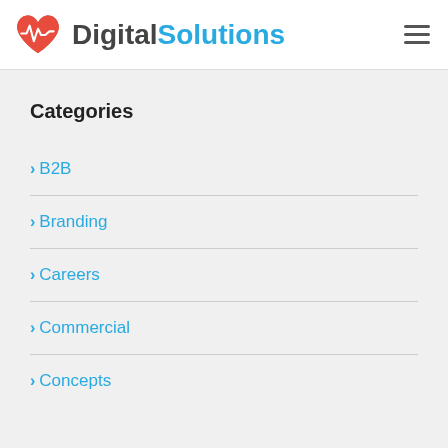Digital Solutions
Categories
B2B
Branding
Careers
Commercial
Concepts